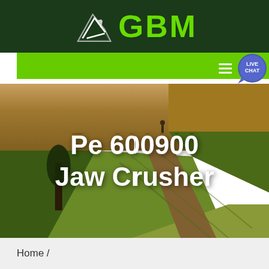GBM
[Figure (screenshot): Website header with dark green background, GBM logo with white arrow/mountain icon, bright green navigation bar with live chat bubble icon on the right]
Pe 600900 Jaw Crusher
[Figure (photo): Aerial photograph of agricultural fields with rolling hills, green and golden tones, with tree silhouettes visible]
Home /